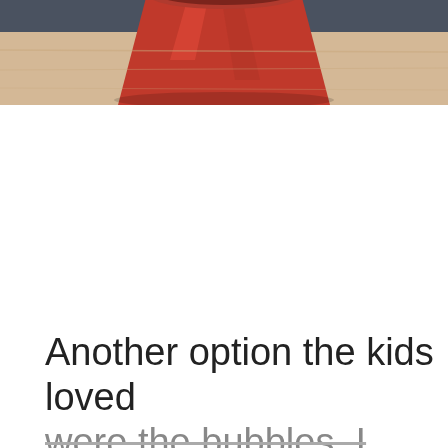[Figure (photo): Partial view of a red cup or bowl on a wooden surface with a dark gray background, cropped at the bottom of the image.]
Another option the kids loved were the bubbles. I bought bottles of bubbles and covered